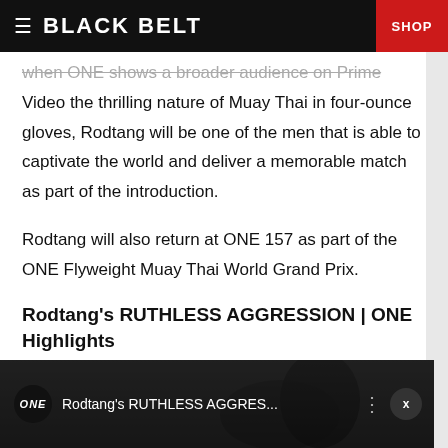BLACK BELT | SHOP
when ONE shows a broader audience on Prime Video the thrilling nature of Muay Thai in four-ounce gloves, Rodtang will be one of the men that is able to captivate the world and deliver a memorable match as part of the introduction.
Rodtang will also return at ONE 157 as part of the ONE Flyweight Muay Thai World Grand Prix.
Rodtang's RUTHLESS AGGRESSION | ONE Highlights
[Figure (screenshot): Video thumbnail showing ONE Championship logo and title 'Rodtang's RUTHLESS AGGRES...' with a dark background featuring fighter silhouette]